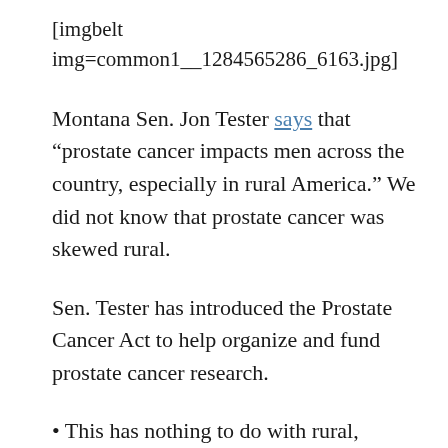[imgbelt img=common1__1284565286_6163.jpg]
Montana Sen. Jon Tester says that “prostate cancer impacts men across the country, especially in rural America.” We did not know that prostate cancer was skewed rural.
Sen. Tester has introduced the Prostate Cancer Act to help organize and fund prostate cancer research.
• This has nothing to do with rural, except that it has something to do with humanity, so… We read in the Boston Globe that the Boston Commons is seeking corporate support. Yes, ‘tis a tragedy that the public sphere doesn’t have the funds to fix the commons’